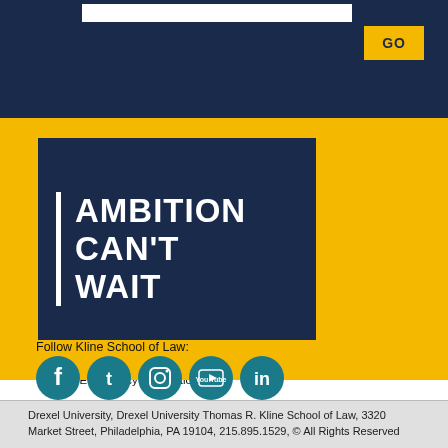[Figure (logo): Dark navy blue box with white bold text reading AMBITION CAN'T WAIT with a white left border bar, on a yellow background]
A-Z Index | For Media | Careers | Privacy & Legal | Contact | Directions & Maps | Emergency Information
Follow Kline School of Law:
[Figure (illustration): Row of five teal circular social media icons: Facebook, Twitter, Instagram, YouTube, LinkedIn]
Drexel University, Drexel University Thomas R. Kline School of Law, 3320 Market Street, Philadelphia, PA 19104, 215.895.1529, © All Rights Reserved